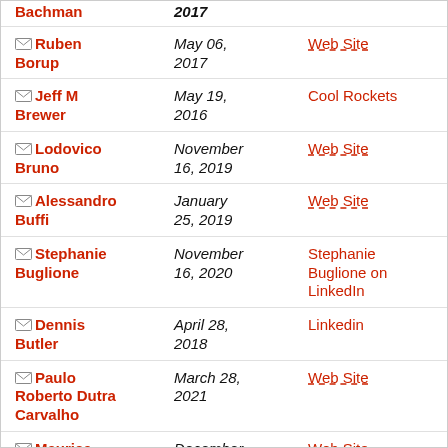Bachman | 2017
Ruben Borup | May 06, 2017 | Web Site
Jeff M Brewer | May 19, 2016 | Cool Rockets
Lodovico Bruno | November 16, 2019 | Web Site
Alessandro Buffi | January 25, 2019 | Web Site
Stephanie Buglione | November 16, 2020 | Stephanie Buglione on LinkedIn
Dennis Butler | April 28, 2018 | Linkedin
Paulo Roberto Dutra Carvalho | March 28, 2021 | Web Site
Maurice | December | Web Site